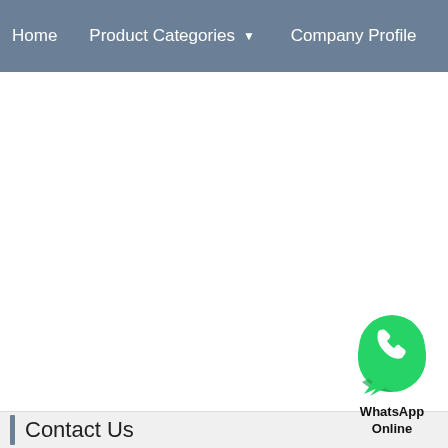Home   Product Categories   Company Profile
[Figure (logo): WhatsApp Online button with green phone icon]
Contact Us
[Figure (logo): JINAN QUICK FULLTEK CNC company logo with blue wave and grey K shape, Chinese characters 快克数控]
JINAN QUICK FULLTEK CNC
* Email
To
* Subject